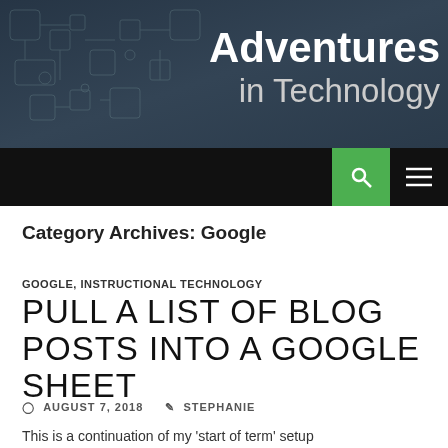[Figure (illustration): Blog header banner with circuit board background image and site title 'Adventures in Technology' in white text on dark blue-grey background]
Adventures in Technology
Category Archives: Google
GOOGLE, INSTRUCTIONAL TECHNOLOGY
PULL A LIST OF BLOG POSTS INTO A GOOGLE SHEET
AUGUST 7, 2018   STEPHANIE
This is a continuation of my 'start of term' setup